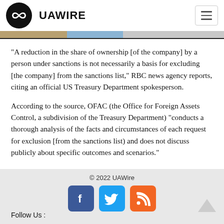UAWIRE
"A reduction in the share of ownership [of the company] by a person under sanctions is not necessarily a basis for excluding [the company] from the sanctions list," RBC news agency reports, citing an official US Treasury Department spokesperson.
According to the source, OFAC (the Office for Foreign Assets Control, a subdivision of the Treasury Department) "conducts a thorough analysis of the facts and circumstances of each request for exclusion [from the sanctions list) and does not discuss publicly about specific outcomes and scenarios."
© 2022 UAWire
Follow Us :